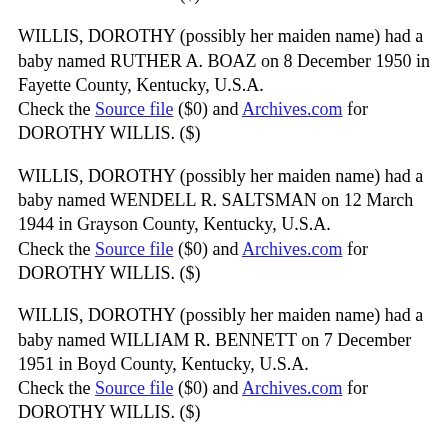DOROTHY WILLIS. ($)
WILLIS, DOROTHY (possibly her maiden name) had a baby named RUTHER A. BOAZ on 8 December 1950 in Fayette County, Kentucky, U.S.A. Check the Source file ($0) and Archives.com for DOROTHY WILLIS. ($)
WILLIS, DOROTHY (possibly her maiden name) had a baby named WENDELL R. SALTSMAN on 12 March 1944 in Grayson County, Kentucky, U.S.A. Check the Source file ($0) and Archives.com for DOROTHY WILLIS. ($)
WILLIS, DOROTHY (possibly her maiden name) had a baby named WILLIAM R. BENNETT on 7 December 1951 in Boyd County, Kentucky, U.S.A. Check the Source file ($0) and Archives.com for DOROTHY WILLIS. ($)
WILLIS, DOROTHY died 23 March 2013 in Missouri, U.S.A. Search the database...